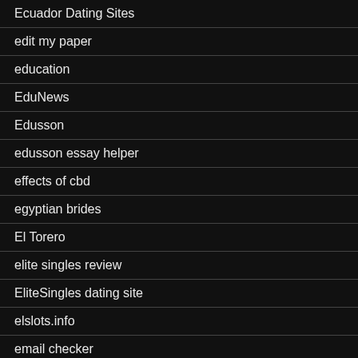Ecuador Dating Sites
edit my paper
education
EduNews
Edusson
edusson essay helper
effects of cbd
egyptian brides
El Torero
elite singles review
EliteSingles dating site
elslots.info
email checker